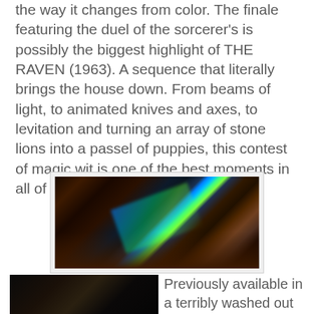the way it changes from color. The finale featuring the duel of the sorcerer's is possibly the biggest highlight of THE RAVEN (1963). A sequence that literally brings the house down. From beams of light, to animated knives and axes, to levitation and turning an array of stone lions into a passel of puppies, this contest of magic wit is one of the best moments in all of Corman's Poe ventures.
[Figure (photo): A dark scene from The Raven (1963) showing colorful beams of light (blue, green) emanating during the sorcerer's duel, with dimly lit figures visible on either side.]
[Figure (photo): A dark still from a film showing a person's face, likely a young man, in low light conditions with a dark bird (raven) visible.]
Previously available in a terribly washed out